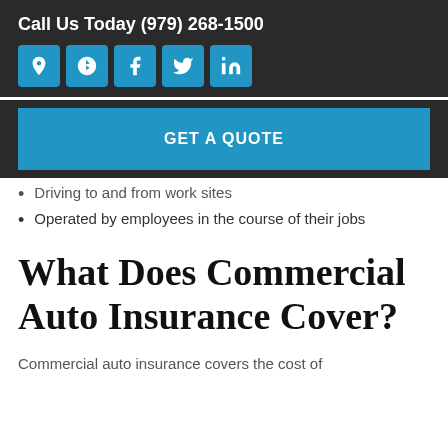Call Us Today (979) 268-1500
[Figure (infographic): Social media icon buttons: location pin, Yelp, Facebook, Twitter, LinkedIn — all white icons on blue square backgrounds]
GET A QUOTE
Driving to and from work sites
Operated by employees in the course of their jobs
What Does Commercial Auto Insurance Cover?
Commercial auto insurance covers the cost of